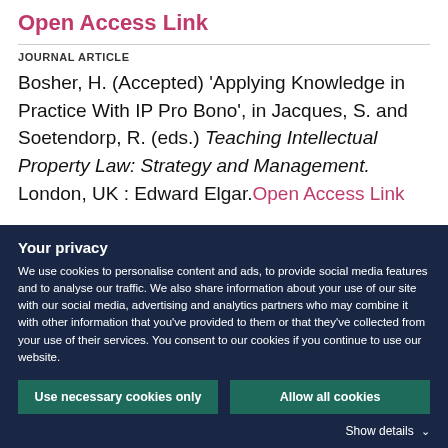Open Access Link
JOURNAL ARTICLE
Bosher, H. (Accepted) 'Applying Knowledge in Practice With IP Pro Bono', in Jacques, S. and Soetendorp, R. (eds.) Teaching Intellectual Property Law: Strategy and Management. London, UK : Edward Elgar. Open Access Link
Your privacy
We use cookies to personalise content and ads, to provide social media features and to analyse our traffic. We also share information about your use of our site with our social media, advertising and analytics partners who may combine it with other information that you've provided to them or that they've collected from your use of their services. You consent to our cookies if you continue to use our website.
Use necessary cookies only | Allow all cookies
Show details